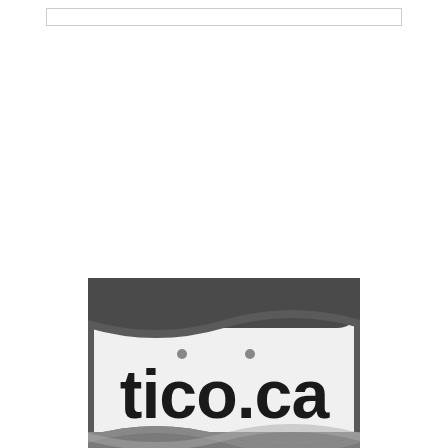[Figure (logo): TICO (Travel Industry Council of Ontario) logo with tico.ca text, rounded rectangle shape with dark grey top and bottom bands and wave design, with tagline 'Travel Industry Council of Ontario' below]
Travel Industry Council of Ontario